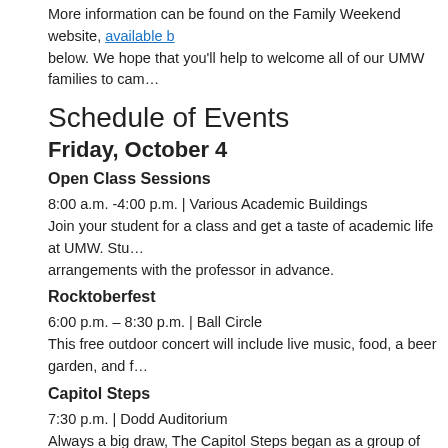More information can be found on the Family Weekend website, available below. We hope that you'll help to welcome all of our UMW families to cam…
Schedule of Events
Friday, October 4
Open Class Sessions
8:00 a.m. -4:00 p.m. | Various Academic Buildings
Join your student for a class and get a taste of academic life at UMW. Stu… arrangements with the professor in advance.
Rocktoberfest
6:00 p.m. – 8:30 p.m. | Ball Circle
This free outdoor concert will include live music, food, a beer garden, and f…
Capitol Steps
7:30 p.m. | Dodd Auditorium
Always a big draw, The Capitol Steps began as a group of Senate staffers very people and places that employed them. Tickets can be purchased at https://www.eventbrite.com/e/2019-stafford-rotary-capitol-steps-tickets-6…